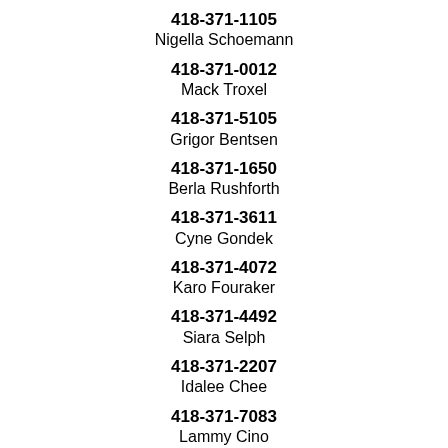418-371-1105
Nigella Schoemann
418-371-0012
Mack Troxel
418-371-5105
Grigor Bentsen
418-371-1650
Berla Rushforth
418-371-3611
Cyne Gondek
418-371-4072
Karo Fouraker
418-371-4492
Siara Selph
418-371-2207
Idalee Chee
418-371-7083
Lammy Cino